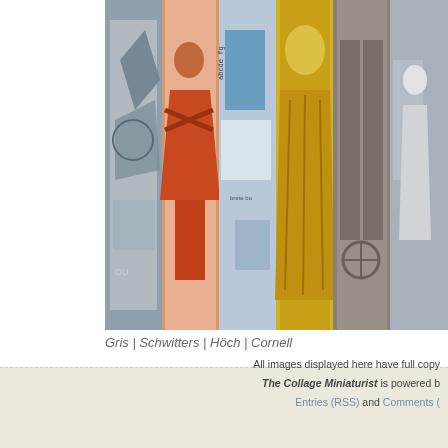[Figure (photo): Horizontal strip of six art collage images side by side: Gris, Schwitters, Höch, Cornell works in various styles]
Gris | Schwitters | Höch | Cornell
Posted in Artists/Collage, Collage, G Braque, H Höch, Influences, J Cornell, J Gris, K Schw..., Picasso | No Comments »
« Previous Entries
All images displayed here have full copy... The Collage Miniaturist is powered b... Entries (RSS) and Comments (